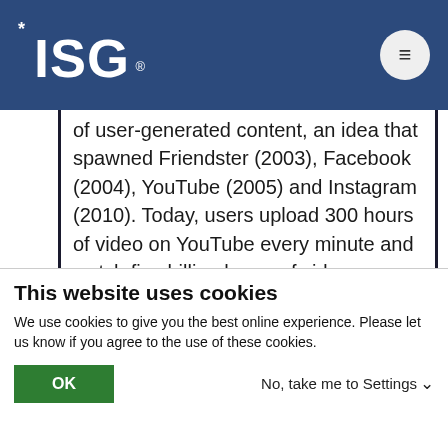ISG
of user-generated content, an idea that spawned Friendster (2003), Facebook (2004), YouTube (2005) and Instagram (2010). Today, users upload 300 hours of video on YouTube every minute and watch five billion hours of video on YouTube every month. Experts predict that more than half of viewers under the age of 32 will not subscribe to a pay-for-TV service by 2025.
This website uses cookies
We use cookies to give you the best online experience. Please let us know if you agree to the use of these cookies.